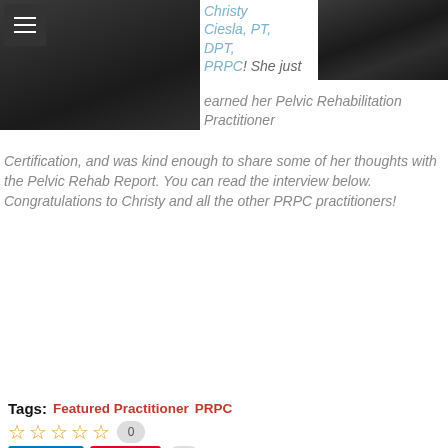[Figure (photo): Photo of Christy Ciesla, a woman with dark curly hair wearing a dark outfit, shown twice (large left, small right)]
Christy Ciesla, PT, DPT, PRPC! She just earned her Pelvic Rehabilitation Practitioner Certification, and was kind enough to share some of her thoughts with the Pelvic Rehab Report. You can read the interview below. Congratulations to Christy and all the other PRPC practitioners!
Continue reading
Tags: Featured Practitioner   PRPC
☆ ☆ ☆ ☆ ☆  0
Share   Save   0